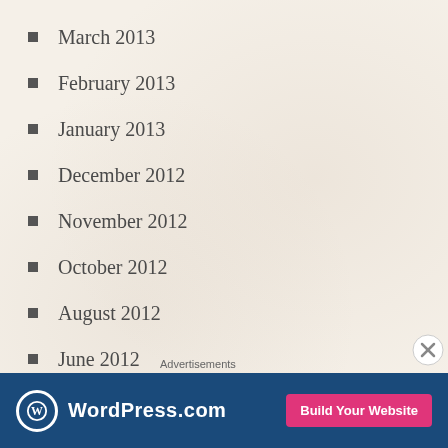March 2013
February 2013
January 2013
December 2012
November 2012
October 2012
August 2012
June 2012
March 2012
February 2012
December... (partially visible)
Advertisements
[Figure (other): WordPress.com advertisement banner with logo and 'Build Your Website' button]